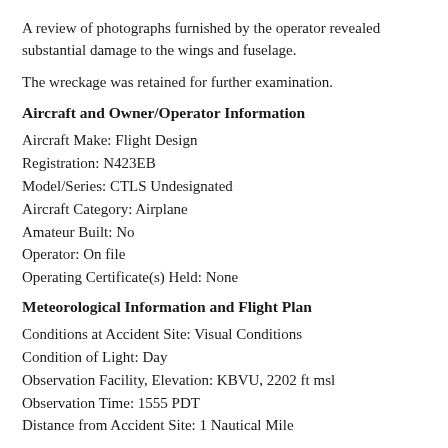A review of photographs furnished by the operator revealed substantial damage to the wings and fuselage.
The wreckage was retained for further examination.
Aircraft and Owner/Operator Information
Aircraft Make: Flight Design
Registration: N423EB
Model/Series: CTLS Undesignated
Aircraft Category: Airplane
Amateur Built: No
Operator: On file
Operating Certificate(s) Held: None
Meteorological Information and Flight Plan
Conditions at Accident Site: Visual Conditions
Condition of Light: Day
Observation Facility, Elevation: KBVU, 2202 ft msl
Observation Time: 1555 PDT
Distance from Accident Site: 1 Nautical Mile